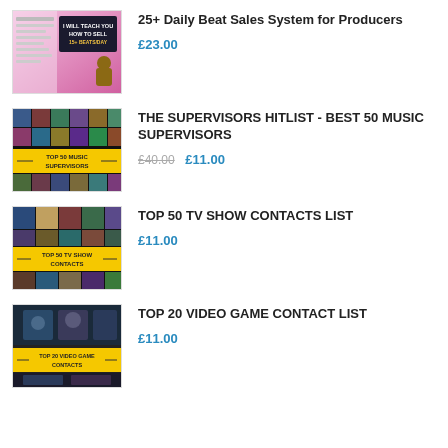[Figure (illustration): Product thumbnail for 25+ Daily Beat Sales System for Producers - pink/purple background with text overlay]
25+ Daily Beat Sales System for Producers
£23.00
[Figure (illustration): Product thumbnail for Top 50 Music Supervisors hitlist - dark background with yellow banner]
THE SUPERVISORS HITLIST - BEST 50 MUSIC SUPERVISORS
£40.00  £11.00
[Figure (illustration): Product thumbnail for Top 50 TV Show Contacts - dark background with yellow banner]
TOP 50 TV SHOW CONTACTS LIST
£11.00
[Figure (illustration): Product thumbnail for Top 20 Video Game Contact List - action game imagery with yellow banner]
TOP 20 VIDEO GAME CONTACT LIST
£11.00